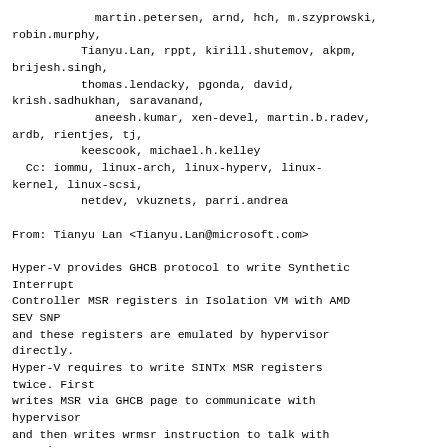martin.petersen, arnd, hch, m.szyprowski,
robin.murphy,
          Tianyu.Lan, rppt, kirill.shutemov, akpm,
brijesh.singh,
          thomas.lendacky, pgonda, david,
krish.sadhukhan, saravanand,
            aneesh.kumar, xen-devel, martin.b.radev,
ardb, rientjes, tj,
          keescook, michael.h.kelley
  Cc: iommu, linux-arch, linux-hyperv, linux-
kernel, linux-scsi,
          netdev, vkuznets, parri.andrea

From: Tianyu Lan <Tianyu.Lan@microsoft.com>

Hyper-V provides GHCB protocol to write Synthetic Interrupt
Controller MSR registers in Isolation VM with AMD SEV SNP
and these registers are emulated by hypervisor directly.
Hyper-V requires to write SINTx MSR registers twice. First
writes MSR via GHCB page to communicate with hypervisor
and then writes wrmsr instruction to talk with paravisor
which runs in VMPL0. Guest OS ID MSR also needs to be set
via GHCB.